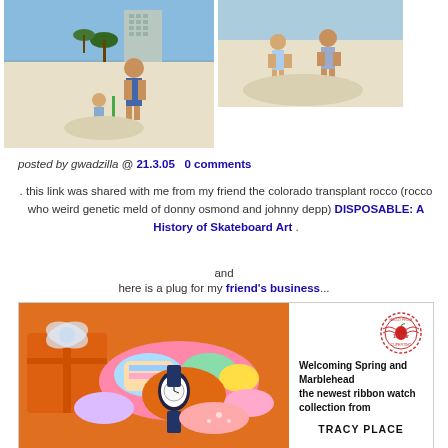[Figure (photo): Man and child playing on beach with sand, tall building and palm trees in background]
[Figure (photo): Children playing in sand on a beach]
posted by gwadzilla @ 21.3.05   0 comments
. this link was shared with me from my friend the colorado transplant rocco (rocco who weird genetic meld of donny osmond and johnny depp) DISPOSABLE: A History of Skateboard Art .
and
here is a plug for my friend's business...
[Figure (photo): Orange gift boxes with ribbon and a ribbon watch on colorful fabric; postcard with stamp reading Hello From 11 May and text: Welcoming Spring and Marblehead the newest ribbon watch collection from TRACY PLACE]